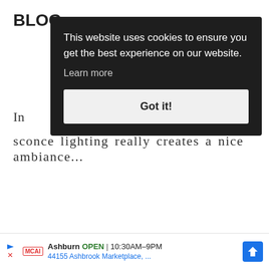BLOG
[Figure (screenshot): Cookie consent popup overlay with dark background showing: 'This website uses cookies to ensure you get the best experience on our website. Learn more' and a 'Got it!' button]
In ou
sconce lighting really creates a nice ambiance...
[Figure (infographic): Advertisement banner: Ashburn OPEN 10:30AM-9PM, 44155 Ashbrook Marketplace, ... with McAlister's Deli logo and navigation arrow icon]